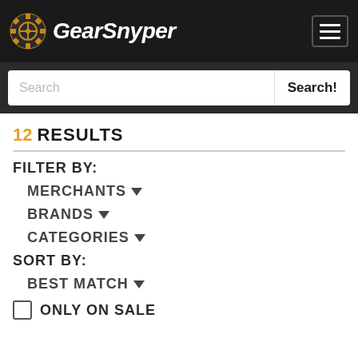GearSnyper
Search
12 RESULTS
FILTER BY:
MERCHANTS ▾
BRANDS ▾
CATEGORIES ▾
SORT BY:
BEST MATCH ▾
ONLY ON SALE